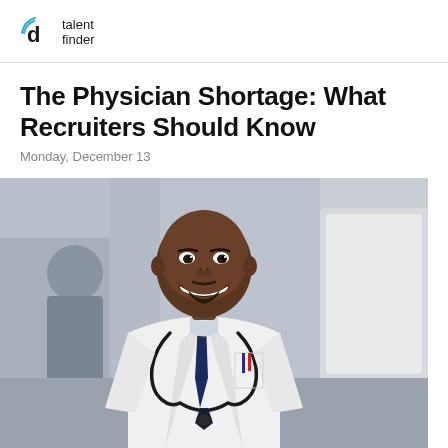talent finder
The Physician Shortage: What Recruiters Should Know
Monday, December 13
[Figure (photo): A smiling Black male physician in a white lab coat with a stethoscope around his neck, seated at a desk with a monitor, blurred office background with people.]